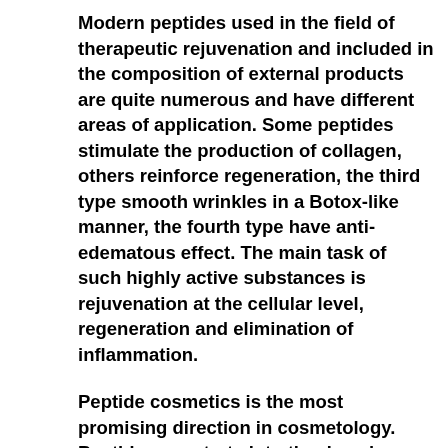Modern peptides used in the field of therapeutic rejuvenation and included in the composition of external products are quite numerous and have different areas of application. Some peptides stimulate the production of collagen, others reinforce regeneration, the third type smooth wrinkles in a Botox-like manner, the fourth type have anti-edematous effect. The main task of such highly active substances is rejuvenation at the cellular level, regeneration and elimination of inflammation.
Peptide cosmetics is the most promising direction in cosmetology. Peptides penetrate into the deep layers of the skin and control the processes in the cells: launch rejuvenation and make them work as actively as possible. They restore the metabolic processes in the skin cells and increase cellular immunity, thereby creating a barrier that protects the skin from the damaging effects of UV radiation, free radicals, aggressive environmental influences, and the consequences of stress. Peptides in cosmetics, therefore, prevent the appearance of age-related signs of